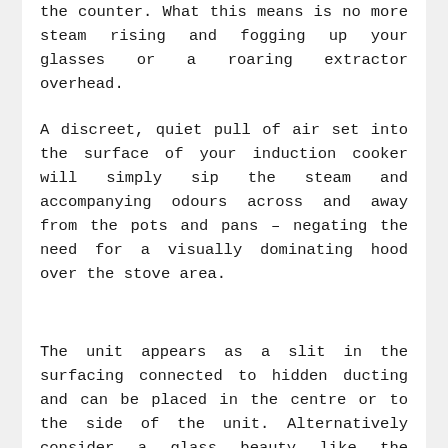the counter. What this means is no more steam rising and fogging up your glasses or a roaring extractor overhead.
A discreet, quiet pull of air set into the surface of your induction cooker will simply sip the steam and accompanying odours across and away from the pots and pans – negating the need for a visually dominating hood over the stove area.
The unit appears as a slit in the surfacing connected to hidden ducting and can be placed in the centre or to the side of the unit. Alternatively consider a glass beauty like the GlassDraftAir which rises seamlessly from the counter. 80cm iQ700 LD88WMM66B glassdraftAir priced at